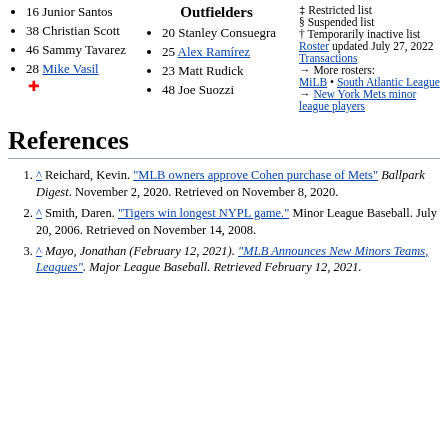16 Junior Santos
38 Christian Scott
46 Sammy Tavarez
28 Mike Vasil
Outfielders
20 Stanley Consuegra
25 Alex Ramírez
23 Matt Rudick
48 Joe Suozzi
‡ Restricted list
§ Suspended list
† Temporarily inactive list
Roster updated July 27, 2022
Transactions
→ More rosters:
MiLB • South Atlantic League
→ New York Mets minor league players
References
^ Reichard, Kevin. "MLB owners approve Cohen purchase of Mets" Ballpark Digest. November 2, 2020. Retrieved on November 8, 2020.
^ Smith, Daren. "Tigers win longest NYPL game." Minor League Baseball. July 20, 2006. Retrieved on November 14, 2008.
^ Mayo, Jonathan (February 12, 2021). "MLB Announces New Minors Teams, Leagues". Major League Baseball. Retrieved February 12, 2021.